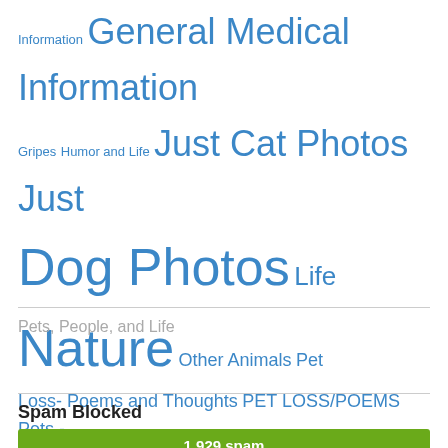[Figure (infographic): Tag cloud of blog categories in varying blue font sizes: Information, General Medical Information, Gripes, Humor and Life, Just Cat Photos, Just Dog Photos, Life, Nature, Other Animals, Pet Loss- Poems and Thoughts, PET LOSS/POEMS, Pets - General, Popular Herding Dogs of Central Texas, Purebreed Dogs: Info To Know, The Vet's Pets, Uncategorized, Videos]
Pets, People, and Life
Spam Blocked
1,929 spam